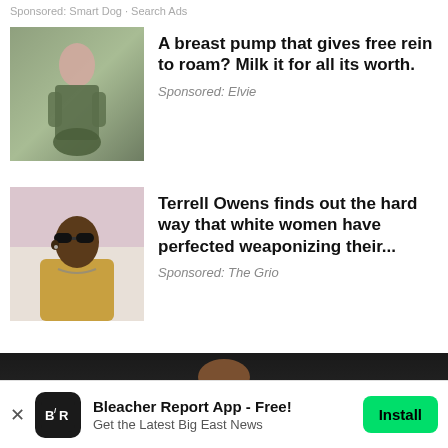Sponsored: Smart Dog · Search Ads
[Figure (photo): Woman in olive green outfit seated on a chair]
A breast pump that gives free rein to roam? Milk it for all its worth.
Sponsored: Elvie
[Figure (photo): Terrell Owens wearing sunglasses and a tan jacket]
Terrell Owens finds out the hard way that white women have perfected weaponizing their...
Sponsored: The Grio
[Figure (photo): Close up of a young man's face on dark background]
Bleacher Report App - Free! Get the Latest Big East News